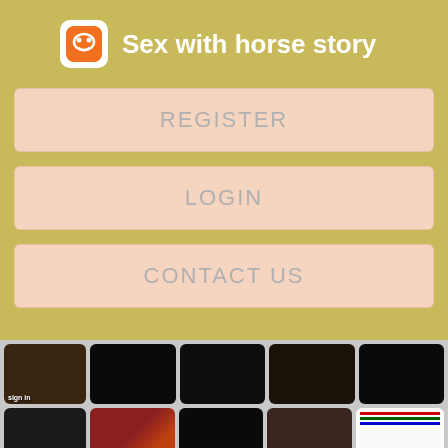Sex with horse story
REGISTER
LOGIN
CONTACT US
[Figure (screenshot): Grid of video thumbnails with Register NOW for Instant Access overlays]
[Figure (screenshot): talent women Macie text with broken image icon]